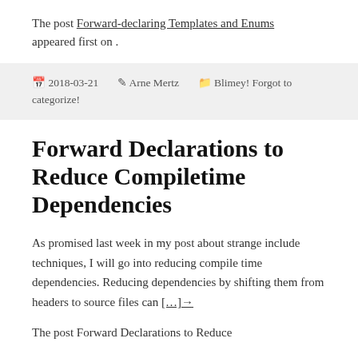The post Forward-declaring Templates and Enums appeared first on .
📅 2018-03-21  ✎ Arne Mertz  🗂 Blimey! Forgot to categorize!
Forward Declarations to Reduce Compiletime Dependencies
As promised last week in my post about strange include techniques, I will go into reducing compile time dependencies. Reducing dependencies by shifting them from headers to source files can […]→
The post Forward Declarations to Reduce